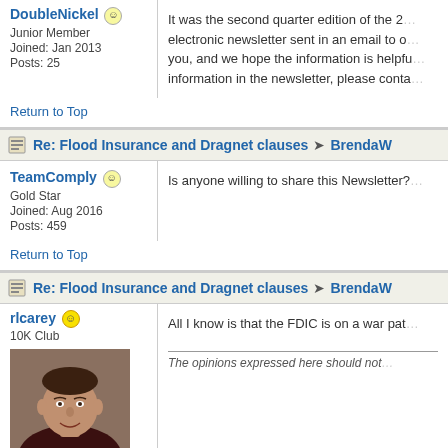DoubleNickel
Junior Member
Joined: Jan 2013
Posts: 25
It was the second quarter edition of the 2... electronic newsletter sent in an email to o... you, and we hope the information is helpfu... information in the newsletter, please conta...
Return to Top
Re: Flood Insurance and Dragnet clauses → BrendaW
TeamComply
Gold Star
Joined: Aug 2016
Posts: 459
Is anyone willing to share this Newsletter?
Return to Top
Re: Flood Insurance and Dragnet clauses → BrendaW
rlcarey
10K Club
[Figure (photo): Profile photo of rlcarey — middle-aged man smiling, with short dark hair, wearing a dark shirt, background appears to be brick or stone wall]
All I know is that the FDIC is on a war pat...
The opinions expressed here should not...